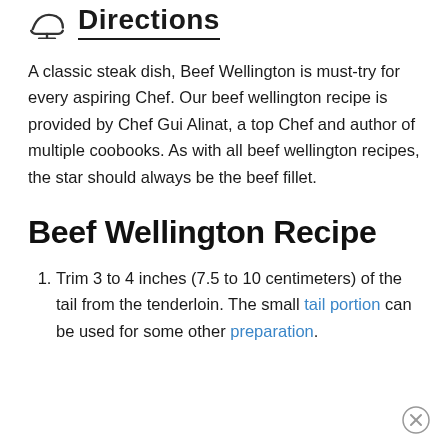Directions
A classic steak dish, Beef Wellington is must-try for every aspiring Chef. Our beef wellington recipe is provided by Chef Gui Alinat, a top Chef and author of multiple coobooks. As with all beef wellington recipes, the star should always be the beef fillet.
Beef Wellington Recipe
Trim 3 to 4 inches (7.5 to 10 centimeters) of the tail from the tenderloin. The small tail portion can be used for some other preparation.